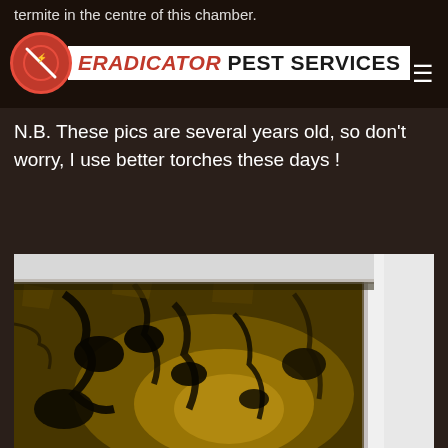Eradicator Pest Services
termite in the centre of this chamber.
N.B. These pics are several years old, so don't worry, I use better torches these days !
[Figure (photo): Close-up photo of termite damage on a wall surface, showing cracked, mud-like brown earth material with dark cavities, with a white painted corner/baseboard visible on the right side, illuminated by a torch/flashlight.]